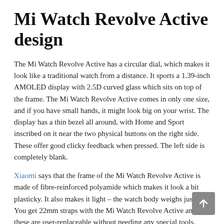Mi Watch Revolve Active design
The Mi Watch Revolve Active has a circular dial, which makes it look like a traditional watch from a distance. It sports a 1.39-inch AMOLED display with 2.5D curved glass which sits on top of the frame. The Mi Watch Revolve Active comes in only one size, and if you have small hands, it might look big on your wrist. The display has a thin bezel all around, with Home and Sport inscribed on it near the two physical buttons on the right side. These offer good clicky feedback when pressed. The left side is completely blank.
Xiaomi says that the frame of the Mi Watch Revolve Active is made of fibre-reinforced polyamide which makes it look a bit plasticky. It also makes it light – the watch body weighs just 35g. You get 22mm straps with the Mi Watch Revolve Active and these are user-replaceable without needing any special tools.